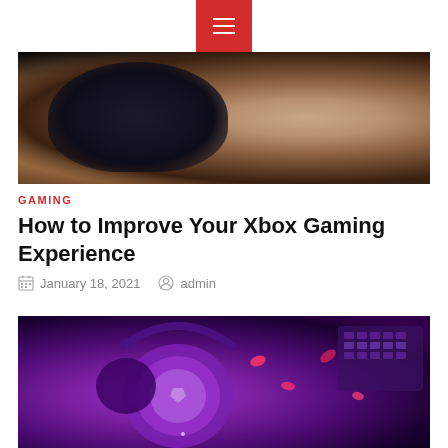Navigation menu button
[Figure (photo): A hand holding a dark Xbox game controller against a dark background]
GAMING
How to Improve Your Xbox Gaming Experience
January 18, 2021   admin
[Figure (photo): Gaming headset with purple/violet RGB lighting on a dark background, with a keyboard visible to the right and pink accent pieces scattered around]